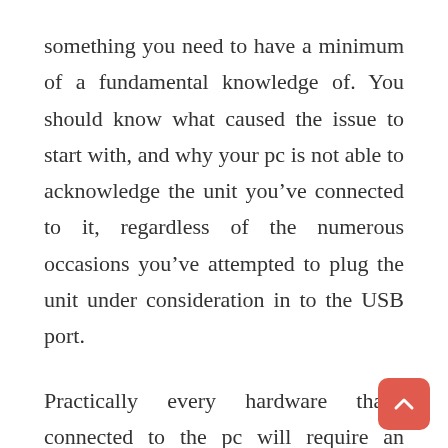something you need to have a minimum of a fundamental knowledge of. You should know what caused the issue to start with, and why your pc is not able to acknowledge the unit you’ve connected to it, regardless of the numerous occasions you’ve attempted to plug the unit under consideration in to the USB port.
Practically every hardware that’s connected to the pc will require an essential component that is actually a device driver. A tool driver is just items of code that allows the hardware and computer to talk with each other, and without them, you may expect your pc to become only a big paper-weight. Do observe that like several things, with time your motorists may become